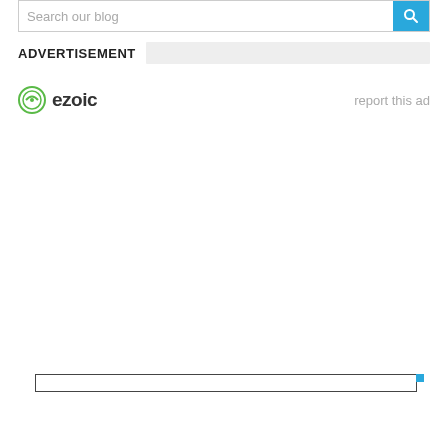Search our blog
ADVERTISEMENT
[Figure (logo): Ezoic logo with green circular icon and bold 'ezoic' text]
report this ad